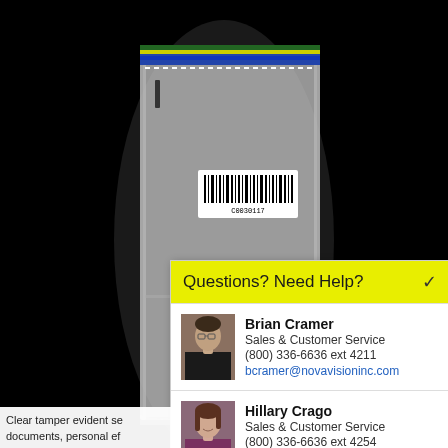[Figure (photo): Clear tamper evident security bag with colorful zipper seal at top, barcode label reading C0030117 on front, shown against black background]
Questions? Need Help?
Brian Cramer
Sales & Customer Service
(800) 336-6636 ext 4211
bcramer@novavisioninc.com
Hillary Crago
Sales & Customer Service
(800) 336-6636 ext 4254
hcrago@novavisioninc.com
Clear tamper evident se... documents, personal ef...